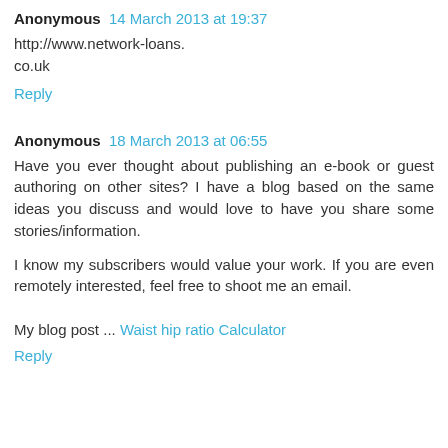Anonymous  14 March 2013 at 19:37
http://www.network-loans.co.uk
Reply
Anonymous  18 March 2013 at 06:55
Have you ever thought about publishing an e-book or guest authoring on other sites? I have a blog based on the same ideas you discuss and would love to have you share some stories/information.
I know my subscribers would value your work. If you are even remotely interested, feel free to shoot me an email.
My blog post ... Waist hip ratio Calculator
Reply